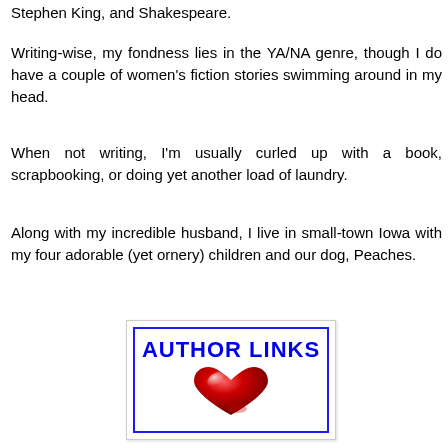Stephen King, and Shakespeare.
Writing-wise, my fondness lies in the YA/NA genre, though I do have a couple of women's fiction stories swimming around in my head.
When not writing, I'm usually curled up with a book, scrapbooking, or doing yet another load of laundry.
Along with my incredible husband, I live in small-town Iowa with my four adorable (yet ornery) children and our dog, Peaches.
[Figure (illustration): A blue-bordered box labeled AUTHOR LINKS with a red glossy heart graphic below the text]